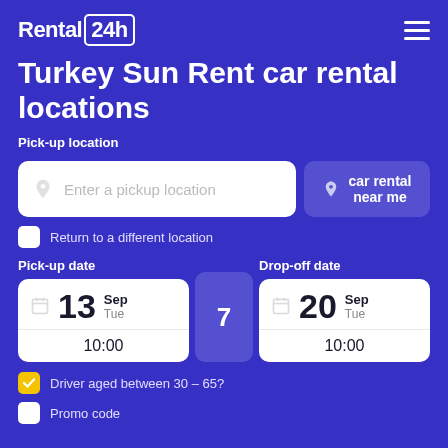Rental 24h
Turkey Sun Rent car rental locations
Pick-up location
Enter a pickup location
car rental near me
Return to a different location
Pick-up date
Drop-off date
13 Sep Tue 10:00
7
20 Sep Tue 10:00
Driver aged between 30 – 65?
Promo code